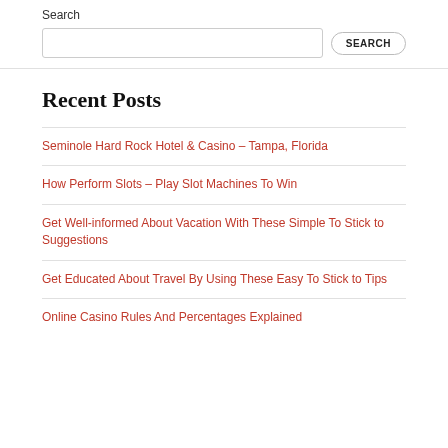Search
Recent Posts
Seminole Hard Rock Hotel & Casino – Tampa, Florida
How Perform Slots – Play Slot Machines To Win
Get Well-informed About Vacation With These Simple To Stick to Suggestions
Get Educated About Travel By Using These Easy To Stick to Tips
Online Casino Rules And Percentages Explained